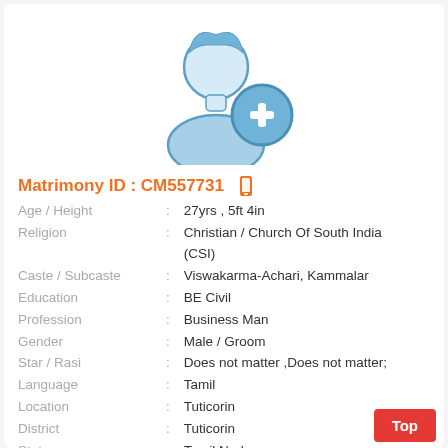[Figure (illustration): Placeholder profile silhouette of a male person with a blue plus/add icon overlay in the bottom-right corner]
Matrimony ID : CM557731
| Field | : | Value |
| --- | --- | --- |
| Age / Height | : | 27yrs , 5ft 4in |
| Religion | : | Christian / Church Of South India (CSI) |
| Caste / Subcaste | : | Viswakarma-Achari, Kammalar |
| Education | : | BE Civil |
| Profession | : | Business Man |
| Gender | : | Male / Groom |
| Star / Rasi | : | Does not matter ,Does not matter; |
| Language | : | Tamil |
| Location | : | Tuticorin |
| District | : | Tuticorin |
| State | : | Tamil Nadu |
| Country | : | India |